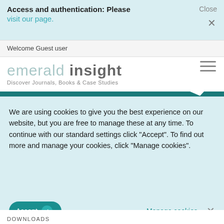Access and authentication: Please visit our page. Close ×
Welcome Guest user
[Figure (logo): Emerald Insight logo with tagline 'Discover Journals, Books & Case Studies' and hamburger menu icon]
We are using cookies to give you the best experience on our website, but you are free to manage these at any time. To continue with our standard settings click "Accept". To find out more and manage your cookies, click "Manage cookies".
Accept ✓  Manage cookies  ×
DOWNLOADS